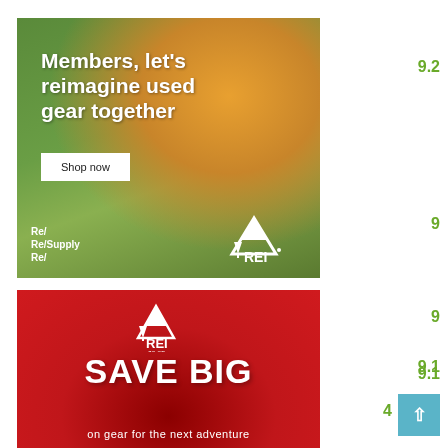[Figure (photo): REI Co-op advertisement for Re/Supply used gear. Shows a person hiking through a wildflower field. White text reads 'Members, let's reimagine used gear together' with a 'Shop now' button. Bottom left shows 'Re/ Re/Supply Re/' text and REI Co-op mountain logo on the right.]
9.2
9
9
9.1
[Figure (photo): REI Co-op advertisement on red background. Shows REI Co-op logo at top center, large white bold text 'SAVE BIG' in the middle, and smaller text 'on gear for the next adventure' at the bottom.]
9.1
4